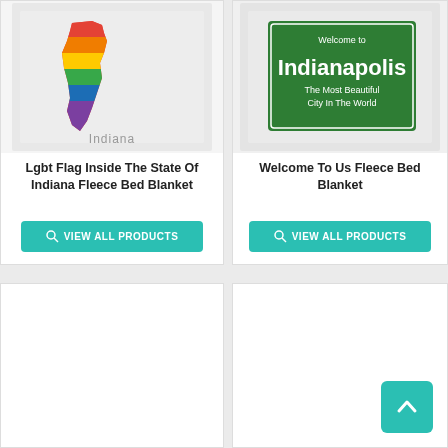[Figure (photo): LGBT rainbow flag inside the shape of Indiana state on a fleece blanket, shown draped]
Lgbt Flag Inside The State Of Indiana Fleece Bed Blanket
VIEW ALL PRODUCTS
[Figure (photo): Welcome to Indianapolis The Most Beautiful City In The World green road sign on a fleece blanket]
Welcome To Us Fleece Bed Blanket
VIEW ALL PRODUCTS
[Figure (photo): Bottom-left product card, image not visible]
[Figure (photo): Bottom-right product card, image not visible; back-to-top button (teal, caret up arrow) visible in bottom-right corner]